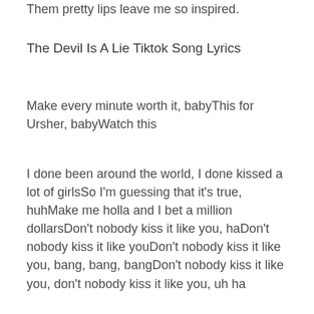Them pretty lips leave me so inspired.
The Devil Is A Lie Tiktok Song Lyrics
Make every minute worth it, babyThis for Ursher, babyWatch this
I done been around the world, I done kissed a lot of girlsSo I'm guessing that it's true, huhMake me holla and I bet a million dollarsDon't nobody kiss it like you, haDon't nobody kiss it like youDon't nobody kiss it like you, bang, bang, bangDon't nobody kiss it like you, don't nobody kiss it like you, uh ha